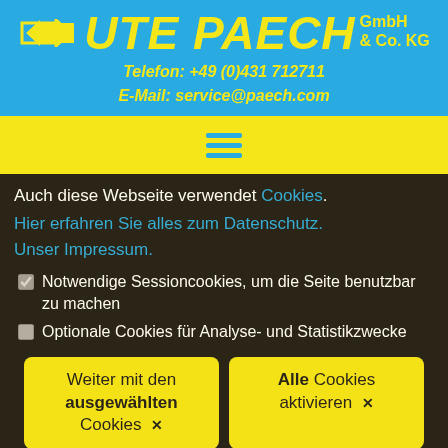[Figure (logo): Ute Paech GmbH & Co. KG company logo with arrows on blue background, company name in yellow italic bold font]
Telefon: +49 (0)431 712711
E-Mail: service@paech.com
[Figure (other): Yellow navigation bar with blue hamburger menu icon (three horizontal lines)]
Auch diese Webseite verwendet Cookies. Hier erfahren Sie alles zum Datenschutz. Unser Impressum.
Notwendige Sessioncookies, um die Seite benutzbar zu machen
Optionale Cookies für Analyse- und Statistikzwecke
Weiter mit den ausgewählten Cookies ✕
Alle Cookies aktivieren ✕